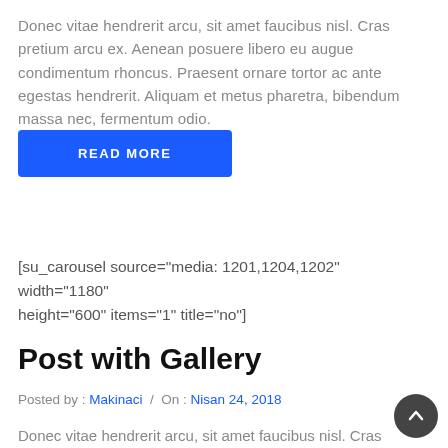Donec vitae hendrerit arcu, sit amet faucibus nisl. Cras pretium arcu ex. Aenean posuere libero eu augue condimentum rhoncus. Praesent ornare tortor ac ante egestas hendrerit. Aliquam et metus pharetra, bibendum massa nec, fermentum odio.
READ MORE
[su_carousel source="media: 1201,1204,1202" width="1180" height="600" items="1" title="no"]
Post with Gallery
Posted by : Makinaci / On : Nisan 24, 2018
Donec vitae hendrerit arcu, sit amet faucibus nisl. Cras pretium